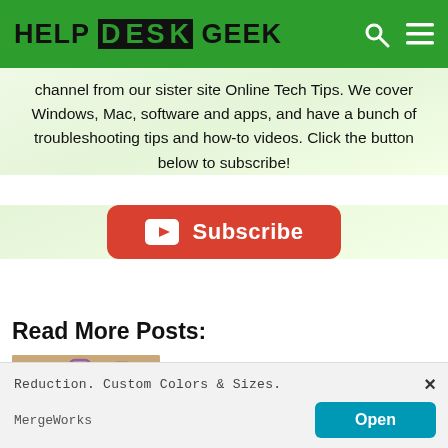HELP DESK GEEK
channel from our sister site Online Tech Tips. We cover Windows, Mac, software and apps, and have a bunch of troubleshooting tips and how-to videos. Click the button below to subscribe!
[Figure (other): Red YouTube subscribe button with YouTube play icon and text 'Subscribe']
Read More Posts:
[Figure (photo): A trash can with multiple Instagram logo icons falling into it, on a warm beige background]
How To Delete An Instagram Account
Reduction. Custom Colors & Sizes.
MergeWorks
Open